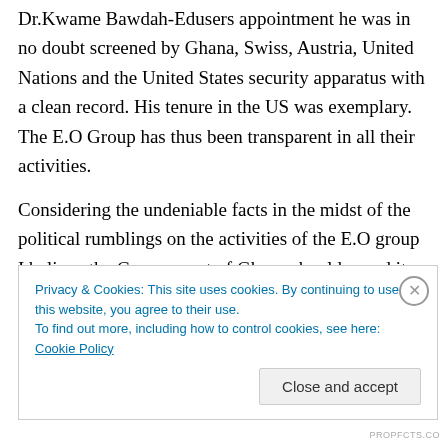Dr.Kwame Bawdah-Edusers appointment he was in no doubt screened by Ghana, Swiss, Austria, United Nations and the United States security apparatus with a clean record. His tenure in the US was exemplary. The E.O Group has thus been transparent in all their activities.
Considering the undeniable facts in the midst of the political rumblings on the activities of the E.O group I believe the Government of Ghana should round it up and take a positive stance in ensuring that the Country would leap to a middle income status.
Privacy & Cookies: This site uses cookies. By continuing to use this website, you agree to their use. To find out more, including how to control cookies, see here: Cookie Policy
PROPFCTS.CO